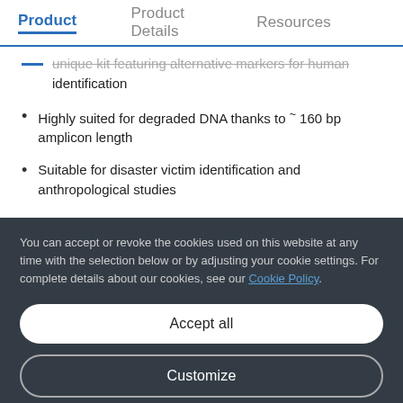Product | Product Details | Resources
Unique kit featuring alternative markers for human identification
Highly suited for degraded DNA thanks to ~ 160 bp amplicon length
Suitable for disaster victim identification and anthropological studies
You can accept or revoke the cookies used on this website at any time with the selection below or by adjusting your cookie settings. For complete details about our cookies, see our Cookie Policy.
Accept all
Customize
Only necessary